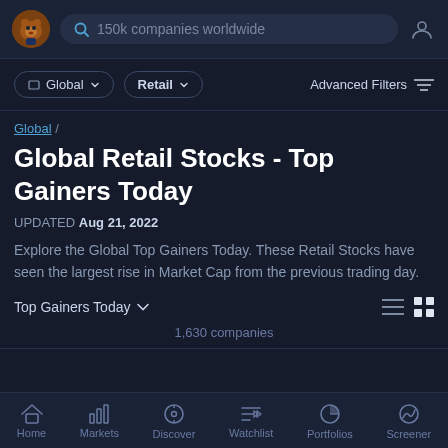150k companies worldwide
Global  /  Retail  /  Advanced Filters
Global /
Global Retail Stocks - Top Gainers Today
UPDATED Aug 21, 2022
Explore the Global Top Gainers Today. These Retail Stocks have seen the largest rise in Market Cap from the previous trading day.
Top Gainers Today
1,630 companies
Home  Markets  Discover  Watchlist  Portfolios  Screener